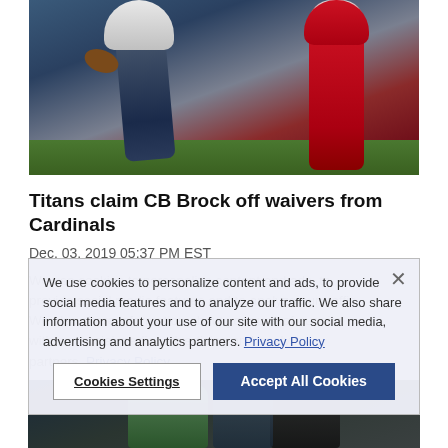[Figure (photo): Football players in action — a Rams player catching or carrying the ball while a Cardinals player in red uniform defends]
Titans claim CB Brock off waivers from Cardinals
Dec. 03, 2019 05:37 PM EST
We use cookies to personalize content and ads, to provide social media features and to analyze our traffic. We also share information about your use of our site with our social media, advertising and analytics partners. Privacy Policy
[Figure (photo): Football players on sideline, one wearing a teal/green uniform and another in dark uniform]